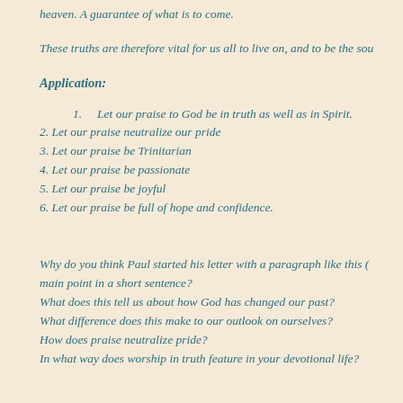heaven. A guarantee of what is to come.
These truths are therefore vital for us all to live on, and to be the sou
Application:
1.   Let our praise to God be in truth as well as in Spirit.
2. Let our praise neutralize our pride
3. Let our praise be Trinitarian
4. Let our praise be passionate
5. Let our praise be joyful
6. Let our praise be full of hope and confidence.
Why do you think Paul started his letter with a paragraph like this ( main point in a short sentence?
What does this tell us about how God has changed our past?
What difference does this make to our outlook on ourselves?
How does praise neutralize pride?
In what way does worship in truth feature in your devotional life?